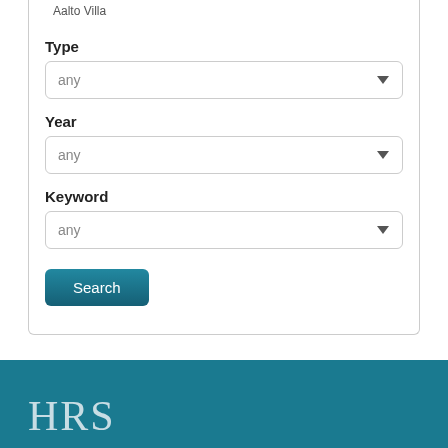Aalto Villa
Type
any
Year
any
Keyword
any
Search
HRS